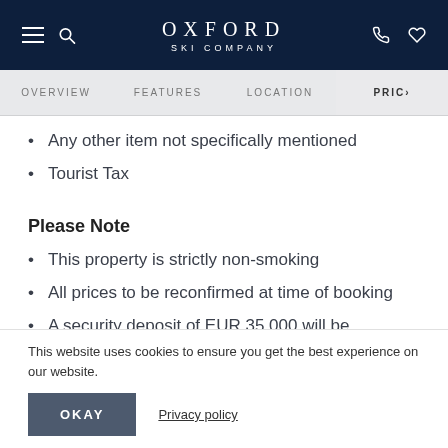OXFORD SKI COMPANY
OVERVIEW | FEATURES | LOCATION | PRICING
Any other item not specifically mentioned
Tourist Tax
Please Note
This property is strictly non-smoking
All prices to be reconfirmed at time of booking
A security deposit of EUR 35,000 will be
This website uses cookies to ensure you get the best experience on our website.
OKAY   Privacy policy